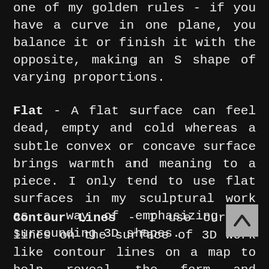one of my golden rules - if you have a curve in one plane, you balance it or finish it with the opposite, making an S shape of varying proportions.
Flat - A flat surface can feel dead, empty and cold whereas a subtle convex or concave surface brings warmth and meaning to a piece. I only tend to use flat surfaces in my sculptural work as a way of emphasizing the surrounding 3D shapes.
Contour Lines - I use curving lines on the surface of 3D work like contour lines on a map to help reveal the form and accentuate movement. I also use numerous parallel horizontal lines on work as a way of referencing time, like